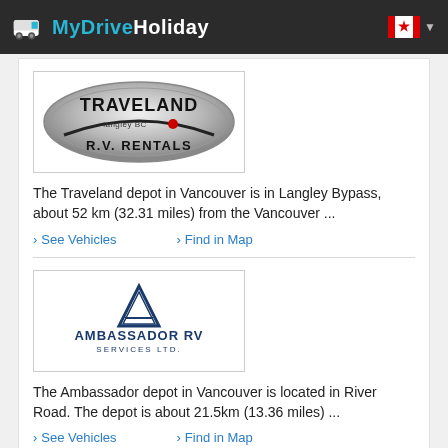MyDriveHoliday
[Figure (logo): Traveland Langley BC R.V. Rentals logo - silver oval badge with text]
The Traveland depot in Vancouver is in Langley Bypass, about 52 km (32.31 miles) from the Vancouver ...
> See Vehicles
> Find in Map
[Figure (logo): Ambassador RV Services Ltd. logo - blue compass/triangle symbol with company name]
The Ambassador depot in Vancouver is located in River Road. The depot is about 21.5km (13.36 miles) ...
> See Vehicles
> Find in Map
Pagination: 1 2